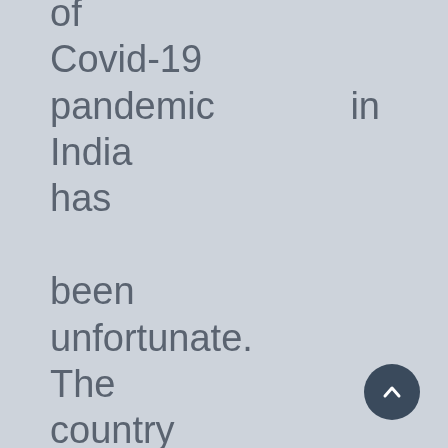of Covid-19 pandemic in India has been unfortunate. The country reported the maximum fresh cases of Covid-19 in the world. The health infrastructure came under tremendous